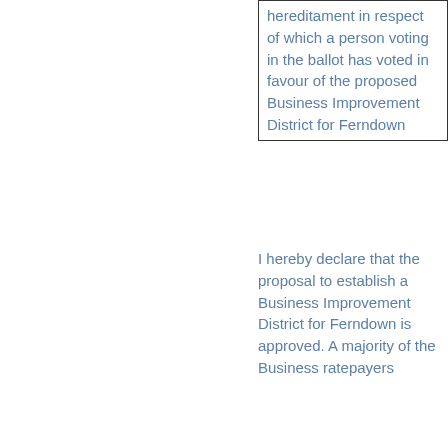| hereditament in respect of which a person voting in the ballot has voted in favour of the proposed Business Improvement District for Ferndown |
I hereby declare that the proposal to establish a Business Improvement District for Ferndown is approved. A majority of the Business ratepayers